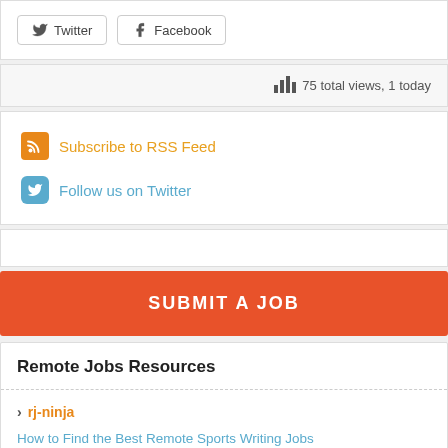Twitter  Facebook
75 total views, 1 today
Subscribe to RSS Feed
Follow us on Twitter
SUBMIT A JOB
Remote Jobs Resources
rj-ninja
How to Find the Best Remote Sports Writing Jobs
Where to Find the Best Freelance Writing Jobs for Beginners